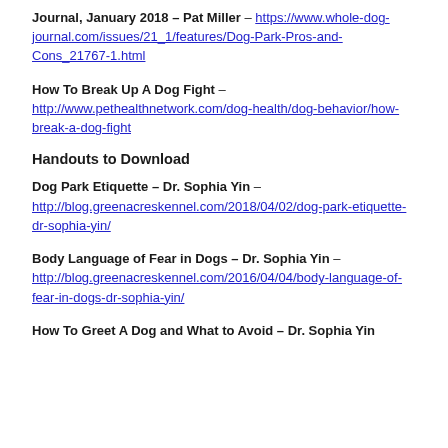Journal, January 2018 – Pat Miller – https://www.whole-dog-journal.com/issues/21_1/features/Dog-Park-Pros-and-Cons_21767-1.html
How To Break Up A Dog Fight – http://www.pethealthnetwork.com/dog-health/dog-behavior/how-break-a-dog-fight
Handouts to Download
Dog Park Etiquette – Dr. Sophia Yin – http://blog.greenacreskennel.com/2018/04/02/dog-park-etiquette-dr-sophia-yin/
Body Language of Fear in Dogs – Dr. Sophia Yin – http://blog.greenacreskennel.com/2016/04/04/body-language-of-fear-in-dogs-dr-sophia-yin/
How To Greet A Dog and What to Avoid – Dr. Sophia Yin